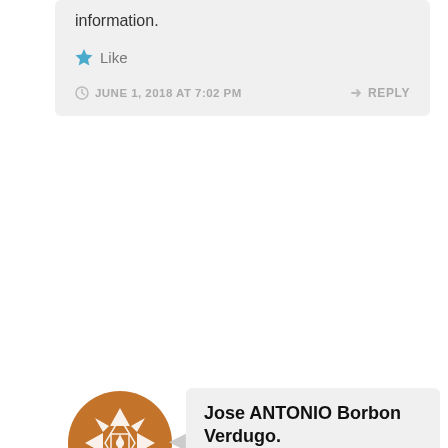information.
Like
JUNE 1, 2018 AT 7:02 PM
REPLY
Jose ANTONIO Borbon Verdugo.
Word of the Day
passive smoking: I HOPE NEVER BE A pASSIVE sMOKING, bECAUSE IS